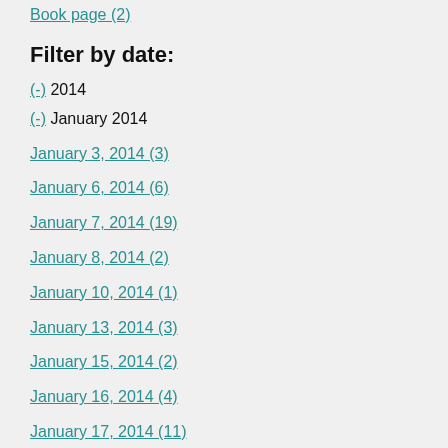Book page (2)
Filter by date:
(-) 2014
(-) January 2014
January 3, 2014 (3)
January 6, 2014 (6)
January 7, 2014 (19)
January 8, 2014 (2)
January 10, 2014 (1)
January 13, 2014 (3)
January 15, 2014 (2)
January 16, 2014 (4)
January 17, 2014 (11)
January 20, 2014 (30)